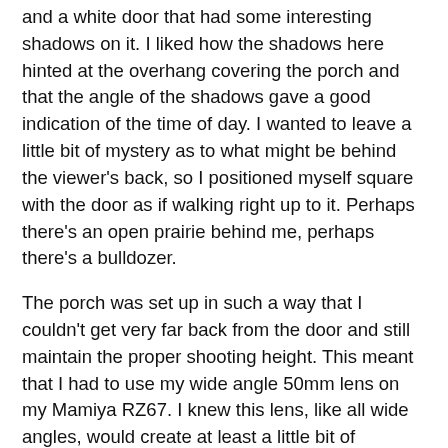and a white door that had some interesting shadows on it. I liked how the shadows here hinted at the overhang covering the porch and that the angle of the shadows gave a good indication of the time of day. I wanted to leave a little bit of mystery as to what might be behind the viewer's back, so I positioned myself square with the door as if walking right up to it. Perhaps there's an open prairie behind me, perhaps there's a bulldozer.
The porch was set up in such a way that I couldn't get very far back from the door and still maintain the proper shooting height. This meant that I had to use my wide angle 50mm lens on my Mamiya RZ67. I knew this lens, like all wide angles, would create at least a little bit of distortion in these perfectly vertical lines. As you can see in the shot, the door has a bit of a fisheye look to it. Normally this doesn't show except for when you have clearly defined vertical lines to reveal it. I'd rather have perfectly